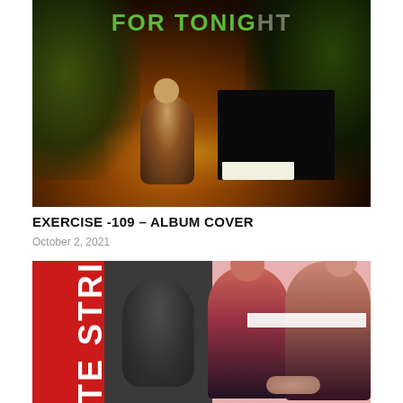[Figure (photo): Album cover photo showing a person playing piano outdoors at night under trees with warm golden glow, text 'FOR TONIGHT' in green and gray at the top]
EXERCISE -109 – ALBUM COVER
October 2, 2021
[Figure (photo): Album cover design with red left panel containing vertical white text 'TE STRIP', dark gray center panel with silhouette, and pink/red right panel showing two people from behind holding hands]